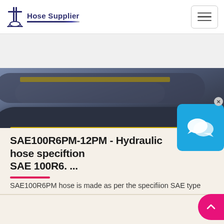Hose Supplier
[Figure (photo): Close-up photo of a dark blue/black hydraulic hose with yellow label stripe showing SAE100R6PM product information and an open circular end visible on the right side]
SAE100R6PM-12PM - Hydraulic hose specification SAE 100R6. ...
SAE100R6PM hose is made as per the specifiion SAE type 100 R6. Hose reinforcement is synthetic textile braid and recommended for using on low pressure and return lines....